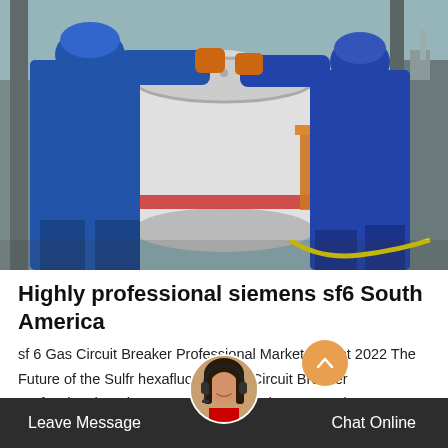[Figure (photo): Two industrial workers in blue uniforms working on large industrial equipment, possibly a gas circuit breaker or valve assembly, outdoors at an industrial facility.]
Highly professional siemens sf6 South America
sf 6 Gas Circuit Breaker Professional Market Insight 2022 The Future of the Sulfr hexafluoride Gas Circuit Breaker Professional Market - Competitive Landscape, Market Attractiveness and Forecasts to 2029, provides re   ith detailed analysis of both histor   erb
Leave Message   Chat Online